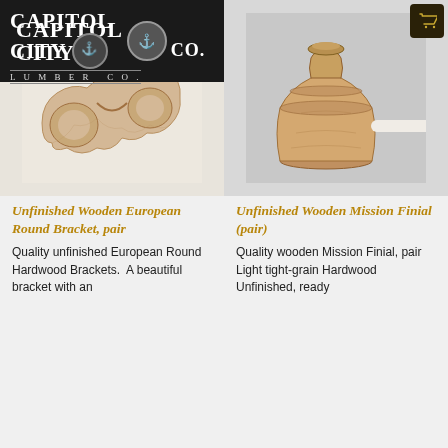Capitol City Lumber Co.
[Figure (photo): Unfinished wooden European round bracket, a curved U-shaped hardwood bracket against a white background]
[Figure (photo): Unfinished wooden Mission Finial (pair), a turned wood finial with decorative ridges on a rod, against a gray background]
Unfinished Wooden European Round Bracket, pair
Unfinished Wooden Mission Finial (pair)
Quality unfinished European Round Hardwood Brackets.  A beautiful bracket with an
Quality wooden Mission Finial, pair    Light tight-grain Hardwood  Unfinished, ready